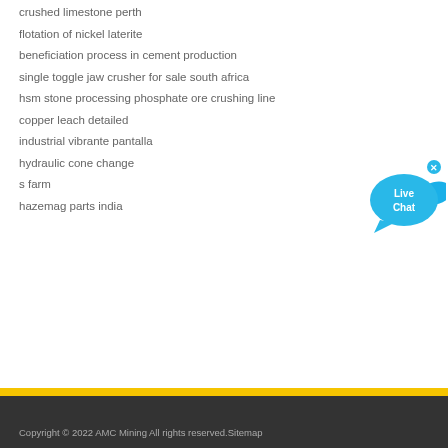crushed limestone perth
flotation of nickel laterite
beneficiation process in cement production
single toggle jaw crusher for sale south africa
hsm stone processing phosphate ore crushing line
copper leach detailed
industrial vibrante pantalla
hydraulic cone change
s farm
hazemag parts india
[Figure (illustration): Live Chat speech bubble widget in cyan/blue color with 'Live Chat' text and a close button]
Copyright © 2022 AMC Mining All rights reserved.Sitemap